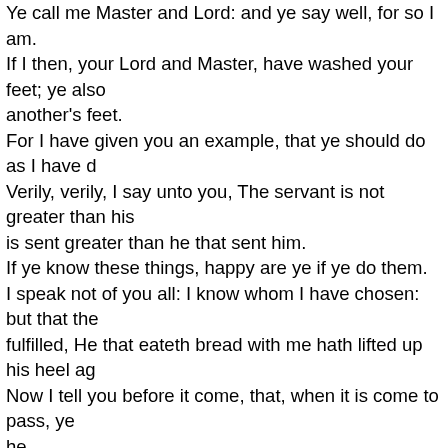Ye call me Master and Lord: and ye say well; for so I am. If I then, your Lord and Master, have washed your feet; ye also ought to wash one another's feet. For I have given you an example, that ye should do as I have done to you. Verily, verily, I say unto you, The servant is not greater than his lord; neither he that is sent greater than he that sent him. If ye know these things, happy are ye if ye do them. I speak not of you all: I know whom I have chosen: but that the scripture may be fulfilled, He that eateth bread with me hath lifted up his heel against me. Now I tell you before it come, that, when it is come to pass, ye may believe that I am he. Verily, verily, I say unto you, He that receiveth whomsoever I send receiveth me; and he that receiveth me receiveth him that sent me. When Jesus had thus said, he was troubled in spirit, and testified, and said, Verily, verily, I say unto you, that one of you shall betray me. Then the disciples looked one on another, doubting of whom he spake. Now there was leaning on Jesus' bosom one of his disciples, whom Jesus loved. Simon Peter therefore beckoned to him, that he should ask who it should be of whom he spake. He then lying on Jesus' breast saith unto him, Lord, who is it? Jesus answered, He it is, to whom I shall give a sop, when I have dipped it.